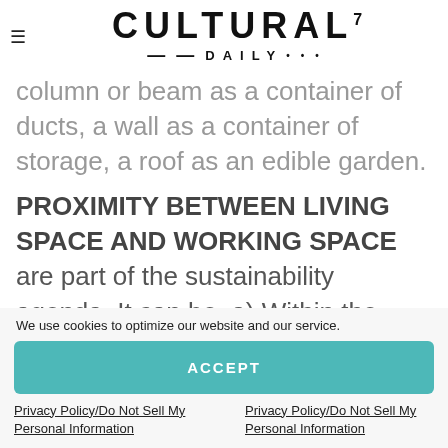CULTURAL7 —DAILY•••
column or beam as a container of ducts, a wall as a container of storage, a roof as an edible garden.
PROXIMITY BETWEEN LIVING SPACE AND WORKING SPACE are part of the sustainability agenda. It can be, a) Within the dwelling unit; b) Adjacent to the
We use cookies to optimize our website and our service.
ACCEPT
Privacy Policy/Do Not Sell My Personal Information
Privacy Policy/Do Not Sell My Personal Information